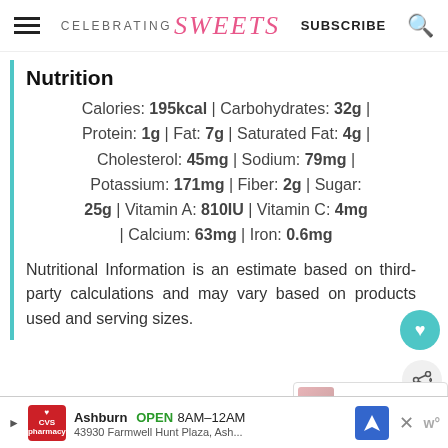CELEBRATING Sweets | SUBSCRIBE
Nutrition
Calories: 195kcal | Carbohydrates: 32g | Protein: 1g | Fat: 7g | Saturated Fat: 4g | Cholesterol: 45mg | Sodium: 79mg | Potassium: 171mg | Fiber: 2g | Sugar: 25g | Vitamin A: 810IU | Vitamin C: 4mg | Calcium: 63mg | Iron: 0.6mg
Nutritional Information is an estimate based on third-party calculations and may vary based on products used and serving sizes.
Ashburn OPEN 8AM–12AM 43930 Farmwell Hunt Plaza, Ash...